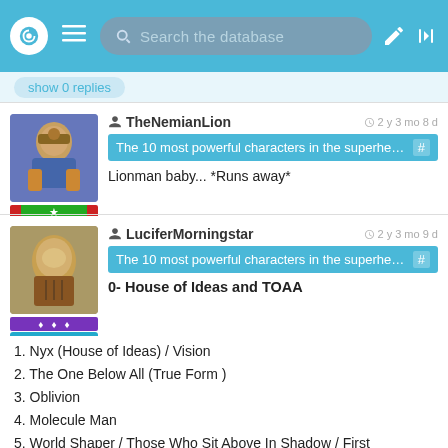[Figure (screenshot): Mobile app navigation bar with logo, hamburger menu, search bar reading 'Search the database', edit icon, and login icon]
show 0 replies
TheNemianLion · 2 y 3 mo 8 d
The 10 most powerful characters in the superhero dat... #
Lionman baby... *Runs away*
LuciferMorningstar · 2 y 3 mo 9 d
The 10 most powerful characters in the superhero dat... #
0- House of Ideas and TOAA
1. Nyx (House of Ideas) / Vision
2. The One Below All (True Form )
3. Oblivion
4. Molecule Man
5. World Shaper / Those Who Sit Above In Shadow / First Firmament
6. Rune King Thor / God of Stories Loki
7. Never Queen